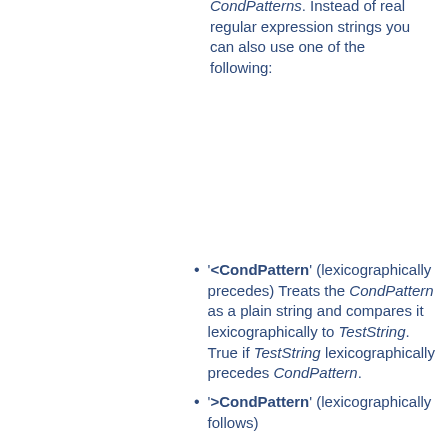CondPatterns. Instead of real regular expression strings you can also use one of the following:
'<CondPattern' (lexicographically precedes) Treats the CondPattern as a plain string and compares it lexicographically to TestString. True if TestString lexicographically precedes CondPattern.
'>CondPattern' (lexicographically follows)